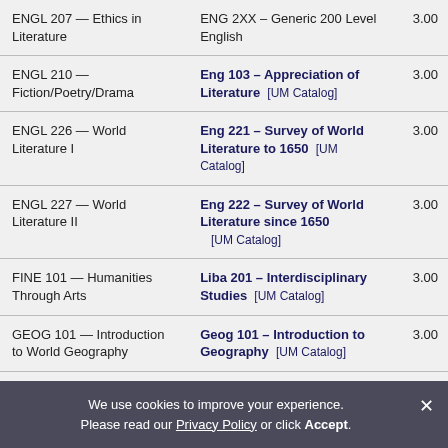| Course | Transfer Equivalent | Credits |
| --- | --- | --- |
| ENGL 207 — Ethics in Literature | ENG 2XX – Generic 200 Level English | 3.00 |
| ENGL 210 — Fiction/Poetry/Drama | Eng 103 – Appreciation of Literature [UM Catalog] | 3.00 |
| ENGL 226 — World Literature I | Eng 221 – Survey of World Literature to 1650 [UM Catalog] | 3.00 |
| ENGL 227 — World Literature II | Eng 222 – Survey of World Literature since 1650 [UM Catalog] | 3.00 |
| FINE 101 — Humanities Through Arts | Liba 201 – Interdisciplinary Studies [UM Catalog] | 3.00 |
| GEOG 101 — Introduction to World Geography | Geog 101 – Introduction to Geography [UM Catalog] | 3.00 |
We use cookies to improve your experience. Please read our Privacy Policy or click Accept.